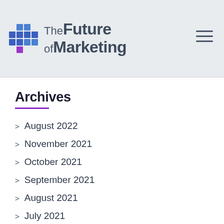The Future of Marketing
Archives
August 2022
November 2021
October 2021
September 2021
August 2021
July 2021
June 2021